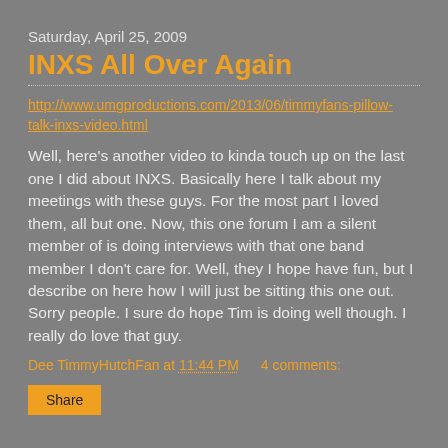Saturday, April 25, 2009
INXS All Over Again
http://www.umgproductions.com/2013/06/timmyfans-pillow-talk-inxs-video.html
Well, here's another video to kinda touch up on the last one I did about INXS. Basically here I talk about my meetings with these guys. For the most part I loved them, all but one. Now, this one forum I am a silent member of is doing interviews with that one band member I don't care for. Well, they I hope have fun, but I describe on here how I will just be sitting this one out. Sorry people. I sure do hope Tim is doing well though. I really do love that guy.
Dee TimmyHutchFan at 11:44 PM    4 comments:
Share